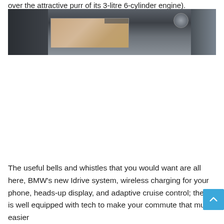over the attractive purr of its 3-litre 6-cylinder engine).
[Figure (photo): BMW Z4 interior dashboard showing the curved display screen with navigation map, dark dashboard trim, and air vent on the right side]
The useful bells and whistles that you would want are all here, BMW's new Idrive system, wireless charging for your phone, heads-up display, and adaptive cruise control; the Z4 is well equipped with tech to make your commute that much easier